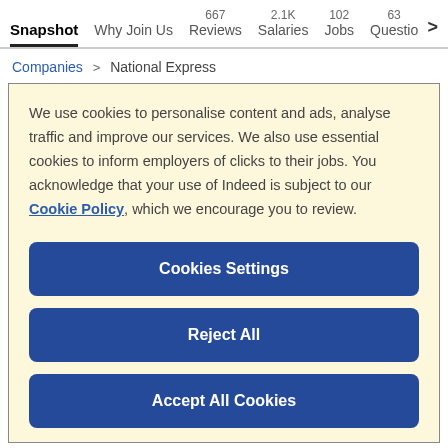Snapshot | Why Join Us | 667 Reviews | 2.1K Salaries | 102 Jobs | 63 Questions >
Companies > National Express
We use cookies to personalise content and ads, analyse traffic and improve our services. We also use essential cookies to inform employers of clicks to their jobs. You acknowledge that your use of Indeed is subject to our Cookie Policy, which we encourage you to review.
Cookies Settings
Reject All
Accept All Cookies